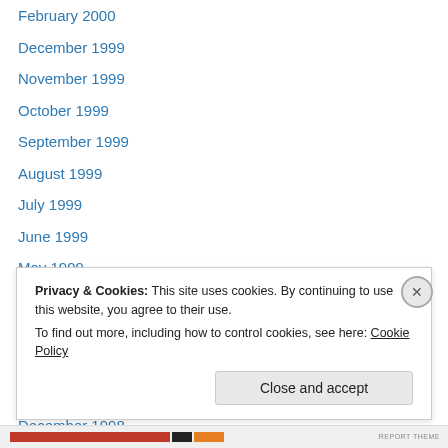February 2000
December 1999
November 1999
October 1999
September 1999
August 1999
July 1999
June 1999
May 1999
April 1999
March 1999
February 1999
January 1999
December 1998
Privacy & Cookies: This site uses cookies. By continuing to use this website, you agree to their use. To find out more, including how to control cookies, see here: Cookie Policy
Close and accept